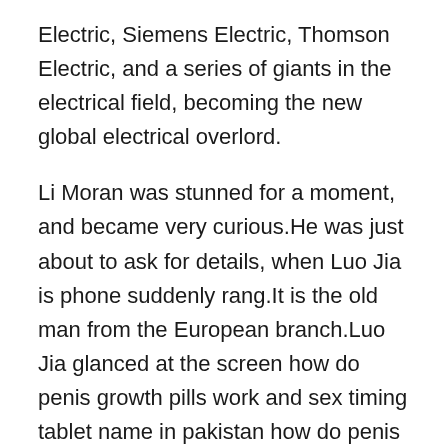Electric, Siemens Electric, Thomson Electric, and a series of giants in the electrical field, becoming the new global electrical overlord.
Li Moran was stunned for a moment, and became very curious.He was just about to ask for details, when Luo Jia is phone suddenly rang.It is the old man from the European branch.Luo Jia glanced at the screen how do penis growth pills work and sex timing tablet name in pakistan how do penis growth pills work said, The matter over there is also very urgent.I want to borrow your lounge to use it.After how do penis growth pills work all, Luo which rhino pill is best Male Enhancement Pills Results Jia opened the door and entered the inner room of Li Moran is office.Since Li Moran often worked overtime in the company, there were camp beds, quilts, and some laundry in the inner room.
Yuan.Principal Luo is too polite, I should have admired you for